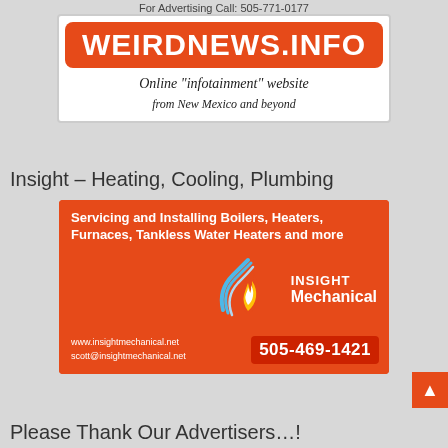For Advertising Call: 505-771-0177
[Figure (logo): WeirdNews.Info logo ad — orange rounded banner with white text 'WEIRDNEWS.INFO', subtitle 'Online "infotainment" website from New Mexico and beyond']
Insight – Heating, Cooling, Plumbing
[Figure (illustration): Insight Mechanical orange advertisement: 'Servicing and Installing Boilers, Heaters, Furnaces, Tankless Water Heaters and more', flame logo with blue swirl, INSIGHT Mechanical branding, www.insightmechanical.net, scott@insightmechanical.net, phone 505-469-1421]
Please Thank Our Advertisers…!